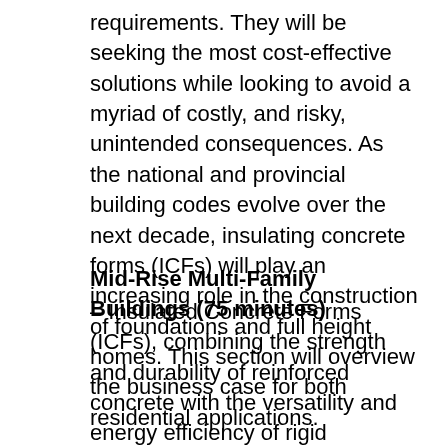requirements. They will be seeking the most cost-effective solutions while looking to avoid a myriad of costly, and risky, unintended consequences. As the national and provincial building codes evolve over the next decade, insulating concrete forms (ICFs) will play an increasing role in the construction of foundations and full height homes. This section will overview the business case for both residential applications.
Mid-Rise Multi-Family Buildings (75 minutes)
– Insulated Concrete Forms (ICFs), combining the strength and durability of reinforced concrete with the versatility and energy efficiency of rigid insulation, provide an ideal solution for both commercial and mid-rise multi-family buildings. With no assembly fire testing, data-based and